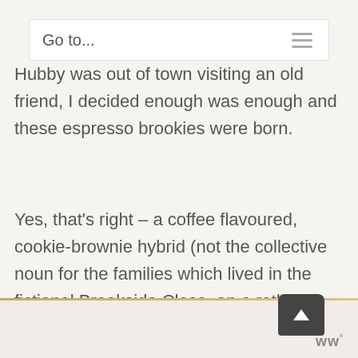Go to...
Hubby was out of town visiting an old friend, I decided enough was enough and these espresso brookies were born.
Yes, that's right – a coffee flavoured, cookie-brownie hybrid (not the collective noun for the families which lived in the fictional Brookside Close, on a rather terrible Scouse soap opera, back in the 80's...).